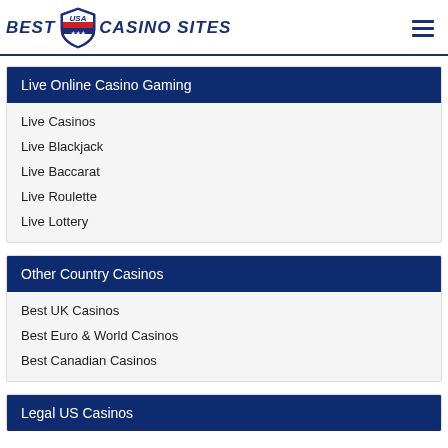BEST USA CASINO SITES
Live Online Casino Gaming
Live Casinos
Live Blackjack
Live Baccarat
Live Roulette
Live Lottery
Other Country Casinos
Best UK Casinos
Best Euro & World Casinos
Best Canadian Casinos
Legal US Casinos